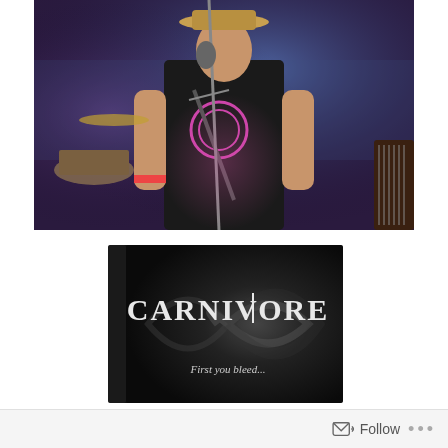[Figure (photo): Concert photo of a performer on stage singing into a microphone, wearing a black sleeveless shirt and a cowboy hat, with blue and purple stage lighting, drum kit visible in the background, guitar neck visible on the right edge.]
[Figure (photo): Book or DVD cover for 'CARNIVORE' with a dark swirling background and the tagline 'First you bleed...']
Follow ···